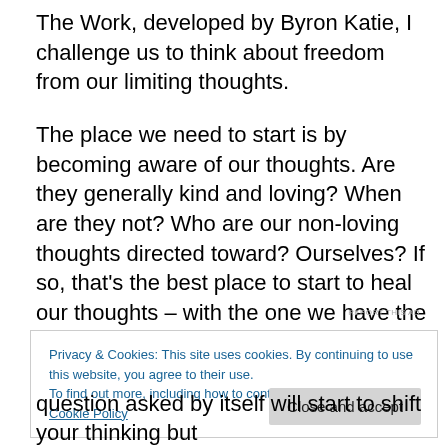The Work, developed by Byron Katie, I challenge us to think about freedom from our limiting thoughts.
The place we need to start is by becoming aware of our thoughts. Are they generally kind and loving? When are they not? Who are our non-loving thoughts directed toward? Ourselves? If so, that’s the best place to start to heal our thoughts – with the one we have the most intimate and potentially rewarding relationship – ourselves.
REPORT THIS AD
Privacy & Cookies: This site uses cookies. By continuing to use this website, you agree to their use.
To find out more, including how to control cookies, see here: Cookie Policy
Close and accept
question asked by itself will start to shift your thinking but